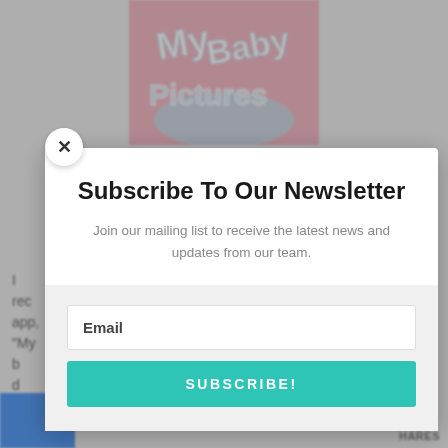[Figure (logo): MyBabyPictures logo on pink background with blue and white 3D-style text]
I rec... app, "My b... d they... a li... f... la... n is...
Subscribe To Our Newsletter
Join our mailing list to receive the latest news and updates from our team.
Email
SUBSCRIBE!
HARES